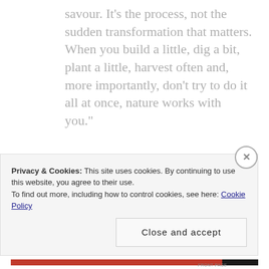savour. It’s the process, not the sudden transformation that matters. When you build a little, dig a bit, plant a little, harvest often and, more importantly, don’t try to do it all at once, nature works with you.”
In my own gardening, I need to reread these words every day. I should put it on a sign. There is so much I want to grow and do now
Privacy & Cookies: This site uses cookies. By continuing to use this website, you agree to their use.
To find out more, including how to control cookies, see here: Cookie Policy
Close and accept